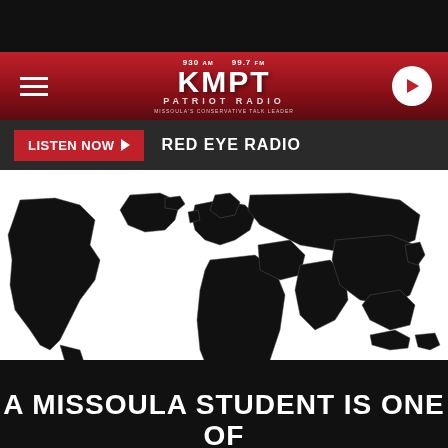930 AM 99.7 FM KMPT PATRIOT RADIO — MISSOULA'S CONSERVATIVE TALK LEADER
LISTEN NOW ▶  RED EYE RADIO
[Figure (map): Black and white world map showing continents and country borders on white background. Image courtesy of Getty Images, Vlok]
Image courtesy of Getty Images, Vlok
A MISSOULA STUDENT IS ONE OF